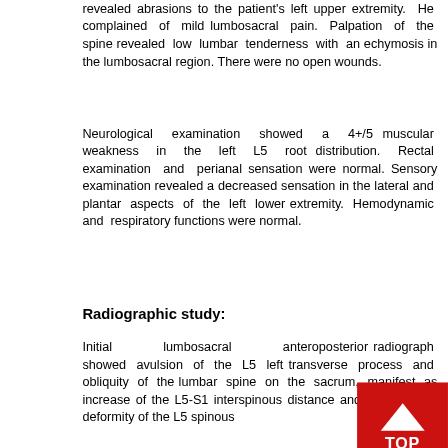revealed abrasions to the patient's left upper extremity. He complained of mild lumbosacral pain. Palpation of the spine revealed low lumbar tenderness with an echymosis in the lumbosacral region. There were no open wounds.
Neurological examination showed a 4+/5 muscular weakness in the left L5 root distribution. Rectal examination and perianal sensation were normal. Sensory examination revealed a decreased sensation in the lateral and plantar aspects of the left lower extremity. Hemodynamic and respiratory functions were normal.
Radiographic study:
Initial lumbosacral anteroposterior radiograph showed avulsion of the L5 left transverse process and obliquity of the lumbar spine on the sacrum, manifest as increase of the L5-S1 interspinous distance and as rotational deformity of the L5 spinous